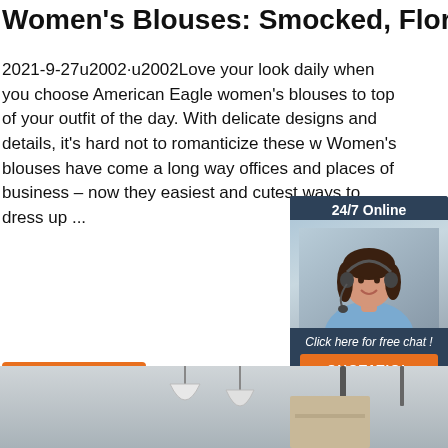Women's Blouses: Smocked, Floral & More
2021-9-27u2002·u2002Love your look daily when you choose American Eagle women's blouses to top of your outfit of the day. With delicate designs and details, it's hard not to romanticize these w Women's blouses have come a long way offices and places of business – now they easiest and cutest ways to dress up ...
[Figure (photo): Chat widget showing a woman with headset, 24/7 Online label, Click here for free chat text, and QUOTATION button]
Get Price
[Figure (logo): TOP icon with orange dots forming a house shape and TOP text]
[Figure (photo): Bottom strip showing pendant lamps and interior items]